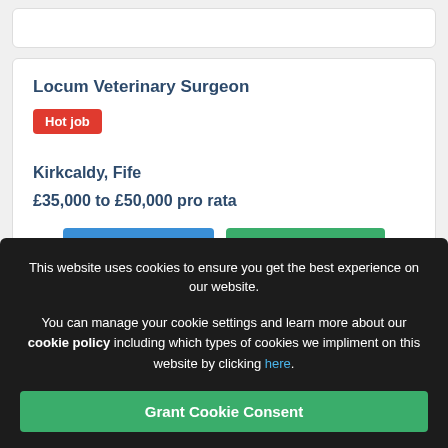Locum Veterinary Surgeon
Hot job
Kirkcaldy, Fife
£35,000 to £50,000 pro rata
More details →
Add to shortlist +
This website uses cookies to ensure you get the best experience on our website.
You can manage your cookie settings and learn more about our cookie policy including which types of cookies we impliment on this website by clicking here.
Grant Cookie Consent